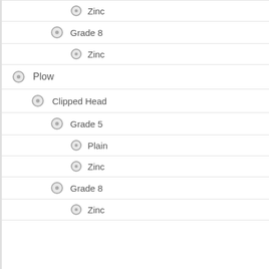Zinc
Grade 8
Zinc
Plow
Clipped Head
Grade 5
Plain
Zinc
Grade 8
Zinc